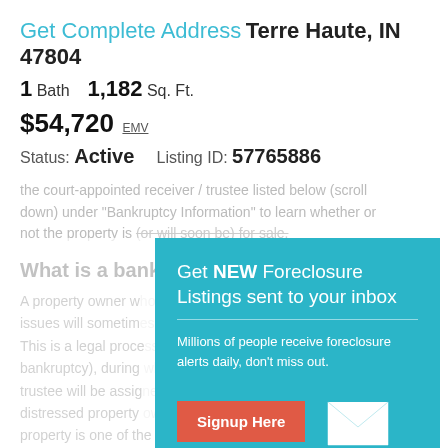Get Complete Address Terre Haute, IN 47804
1 Bath   1,182 Sq. Ft.
$54,720 EMV
Status: Active   Listing ID: 57765886
the court-appointed receiver / trustee listed below (scroll down) under "Bankruptcy Information" to learn whether or not the property is (or will soon be) for sale.
What is a bankr...
A property owner w... issues will sometim... This is a legal proce... bankruptcy), during... trustee will be assig... distressed property... property is one of the most valuable assets that the court-appointed receiver / trustee will leverage to satisfy the distressed property owner's outstanding debts. The
[Figure (infographic): Modal popup overlay on teal/cyan background: 'Get NEW Foreclosure Listings sent to your inbox'. Includes subtitle 'Millions of people receive foreclosure alerts daily, don't miss out.' A red 'Signup Here' button, a white envelope icon, and 'No Thanks | Remind Me Later' footer links.]